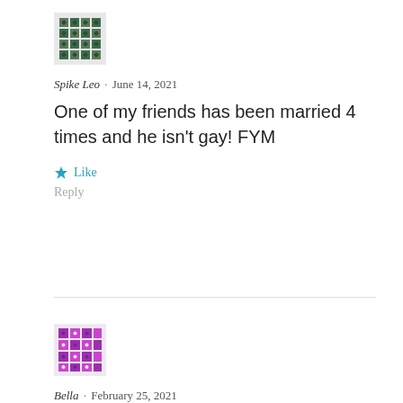[Figure (illustration): Avatar icon for Spike Leo — dark green geometric/floral pattern square avatar]
Spike Leo · June 14, 2021
One of my friends has been married 4 times and he isn't gay! FYM
★ Like
Reply
[Figure (illustration): Avatar icon for Bella — purple geometric/dotted pattern square avatar]
Bella · February 25, 2021